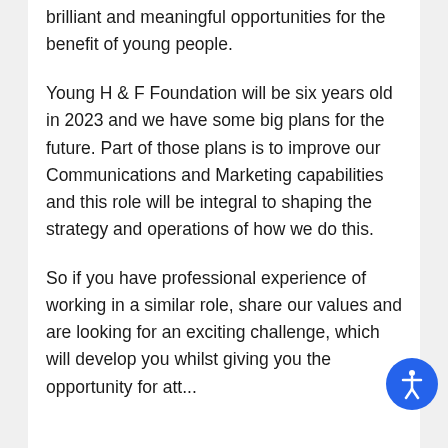brilliant and meaningful opportunities for the benefit of young people.
Young H & F Foundation will be six years old in 2023 and we have some big plans for the future. Part of those plans is to improve our Communications and Marketing capabilities and this role will be integral to shaping the strategy and operations of how we do this.
So if you have professional experience of working in a similar role, share our values and are looking for an exciting challenge, which will develop you whilst giving you the opportunity for ...